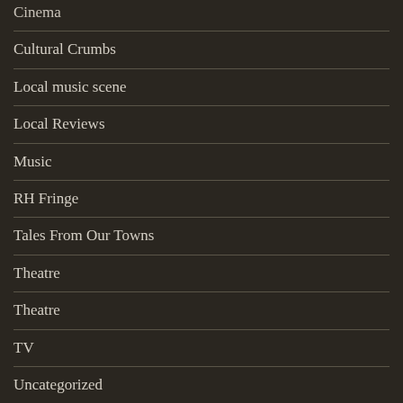Cinema
Cultural Crumbs
Local music scene
Local Reviews
Music
RH Fringe
Tales From Our Towns
Theatre
Theatre
TV
Uncategorized
Writers